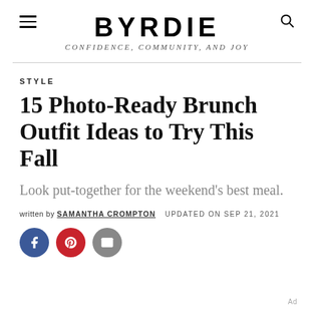BYRDIE — CONFIDENCE, COMMUNITY, AND JOY
STYLE
15 Photo-Ready Brunch Outfit Ideas to Try This Fall
Look put-together for the weekend's best meal.
written by SAMANTHA CROMPTON   UPDATED ON SEP 21, 2021
[Figure (other): Social share icons: Facebook (blue circle), Pinterest (red circle), Email (grey circle)]
Ad